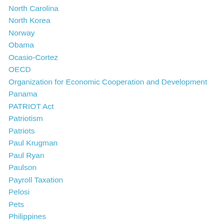North Carolina
North Korea
Norway
Obama
Ocasio-Cortez
OECD
Organization for Economic Cooperation and Development
Panama
PATRIOT Act
Patriotism
Patriots
Paul Krugman
Paul Ryan
Paulson
Payroll Taxation
Pelosi
Pets
Philippines
Podcast
Poland